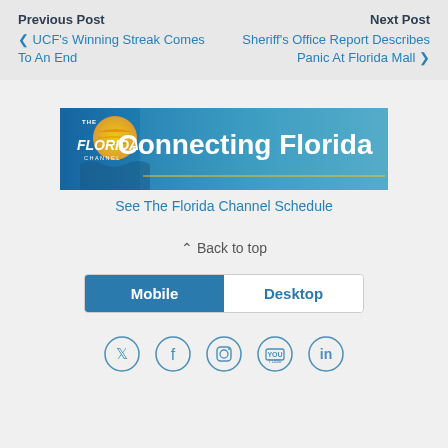Previous Post
‹ UCF's Winning Streak Comes To An End
Next Post
Sheriff's Office Report Describes Panic At Florida Mall ›
[Figure (screenshot): The Florida Channel banner with logo and 'Connecting Florida' tagline]
See The Florida Channel Schedule
⌃ Back to top
Mobile | Desktop
[Figure (infographic): Social media icons: Twitter, Facebook, Instagram, YouTube, LinkedIn]